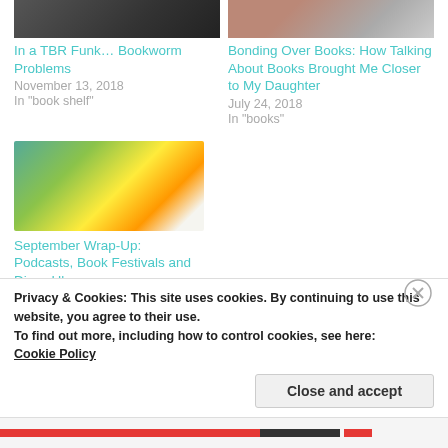[Figure (photo): Thumbnail image of books/bookshelf (dark/monochrome)]
In a TBR Funk… Bookworm Problems
November 13, 2018
In "book shelf"
[Figure (photo): Thumbnail image of rocks/stones]
Bonding Over Books: How Talking About Books Brought Me Closer to My Daughter
July 24, 2018
In "books"
[Figure (photo): Open book with yellow flowers and butterfly on green background]
September Wrap-Up: Podcasts, Book Festivals and Disco Ubers
Privacy & Cookies: This site uses cookies. By continuing to use this website, you agree to their use.
To find out more, including how to control cookies, see here: Cookie Policy
Close and accept